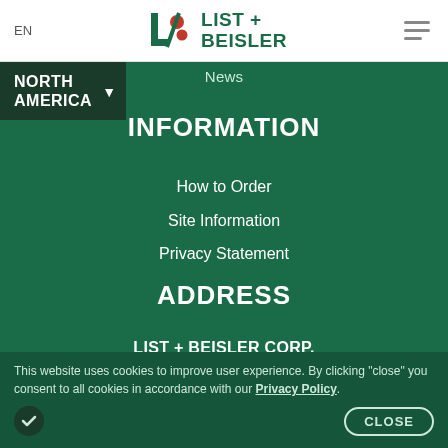EN | LIST + BEISLER
NORTH AMERICA
News
INFORMATION
How to Order
Site Information
Privacy Statement
ADDRESS
LIST + BEISLER CORP.
200 South Biscayne Blvd, Level 20,
Miami FL, 33131
This website uses cookies to improve user experience. By clicking "close" you consent to all cookies in accordance with our Privacy Policy.